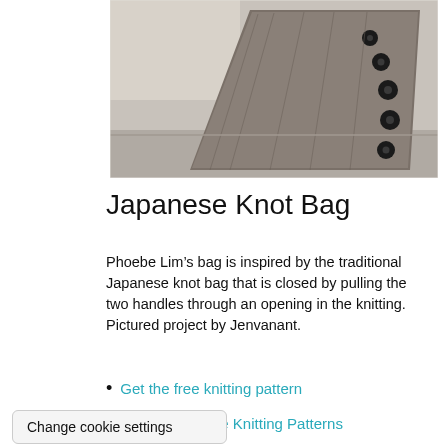[Figure (photo): A knitted Japanese knot bag in grey/brown tweed fabric with black buttons along one side, photographed from above on a light surface.]
Japanese Knot Bag
Phoebe Lim’s bag is inspired by the traditional Japanese knot bag that is closed by pulling the two handles through an opening in the knitting. Pictured project by Jenvanant.
Get the free knitting pattern
See more Purse Knitting Patterns